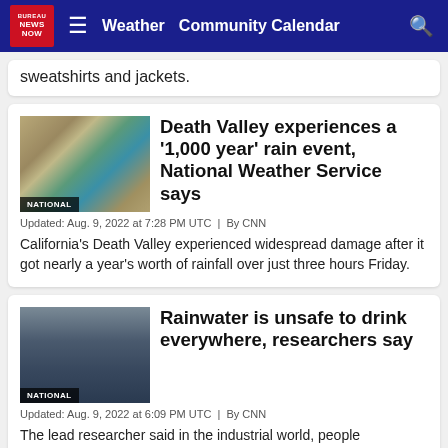NEWS NOW | Weather | Community Calendar
sweatshirts and jackets.
Death Valley experiences a '1,000 year' rain event, National Weather Service says
Updated: Aug. 9, 2022 at 7:28 PM UTC  |  By CNN
California's Death Valley experienced widespread damage after it got nearly a year's worth of rainfall over just three hours Friday.
Rainwater is unsafe to drink everywhere, researchers say
Updated: Aug. 9, 2022 at 6:09 PM UTC  |  By CNN
The lead researcher said in the industrial world, people